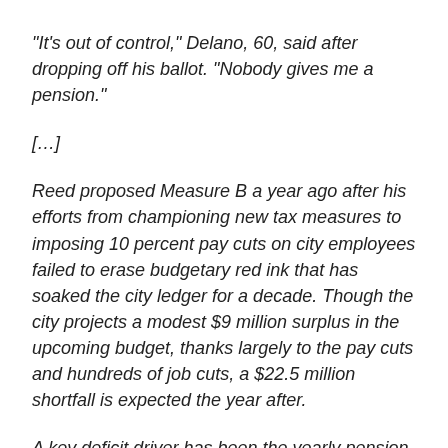“It’s out of control,” Delano, 60, said after dropping off his ballot. “Nobody gives me a pension.”
[…]
Reed proposed Measure B a year ago after his efforts from championing new tax measures to imposing 10 percent pay cuts on city employees failed to erase budgetary red ink that has soaked the city ledger for a decade. Though the city projects a modest $9 million surplus in the upcoming budget, thanks largely to the pay cuts and hundreds of job cuts, a $22.5 million shortfall is expected the year after.
A key deficit driver has been the yearly pension bill that has more than tripled from $73 million to $245 million in a decade, far outpacing the 20 percent revenue growth and